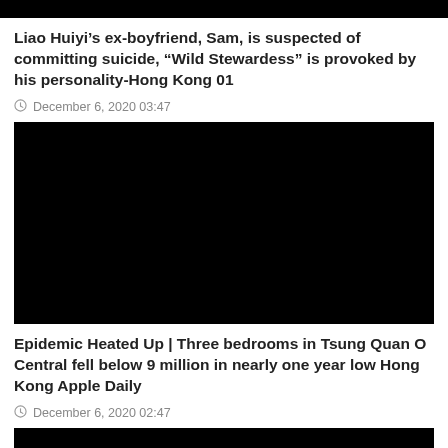[Figure (photo): Black image bar at top of page (partial, cropped)]
Liao Huiyi’s ex-boyfriend, Sam, is suspected of committing suicide, “Wild Stewardess” is provoked by his personality-Hong Kong 01
◎ December 6, 2020 03:47
[Figure (photo): Black image/thumbnail for second news article]
Epidemic Heated Up | Three bedrooms in Tsung Quan O Central fell below 9 million in nearly one year low Hong Kong Apple Daily
◎ December 6, 2020 02:47
[Figure (photo): Black image/thumbnail for third news article (partially visible at bottom)]